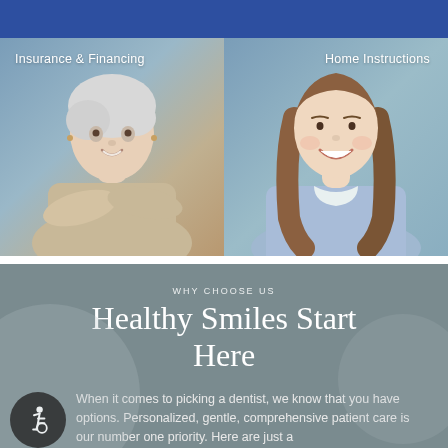[Figure (photo): Blue header bar at top of dental practice website]
[Figure (photo): Two-panel photo section: left panel shows older woman with white hair smiling with arms crossed labeled 'Insurance & Financing'; right panel shows young woman with long brown hair smiling labeled 'Home Instructions'. Both set against a blue-grey background.]
WHY CHOOSE US
Healthy Smiles Start Here
When it comes to picking a dentist, we know that you have options. Personalized, gentle, comprehensive patient care is our number one priority. Here are just a